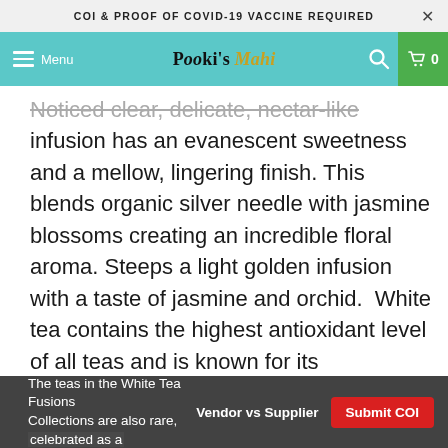COI & PROOF OF COVID-19 VACCINE REQUIRED
Pooki's Mahi — Menu — Search — Cart 0
Noticed clear, delicate, nectar-like infusion has an evanescent sweetness and a mellow, lingering finish. This blends organic silver needle with jasmine blossoms creating an incredible floral aroma. Steeps a light golden infusion with a taste of jasmine and orchid. White tea contains the highest antioxidant level of all teas and is known for its detoxifying, stress-relieving and mood-lifting properties.
The teas in the White Tea Fusions Collections are also rare, celebrated as a
Vendor vs Supplier
Submit COI